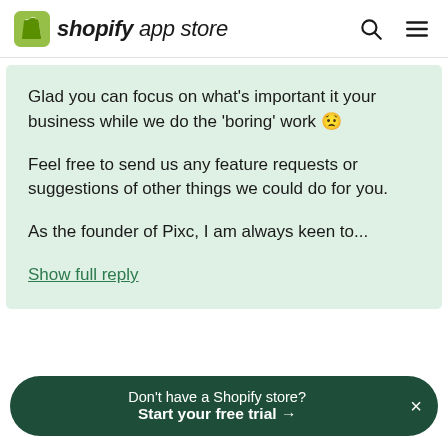shopify app store
Glad you can focus on what's important it your business while we do the 'boring' work 😬

Feel free to send us any feature requests or suggestions of other things we could do for you.

As the founder of Pixc, I am always keen to...
Show full reply
Don't have a Shopify store? Start your free trial →